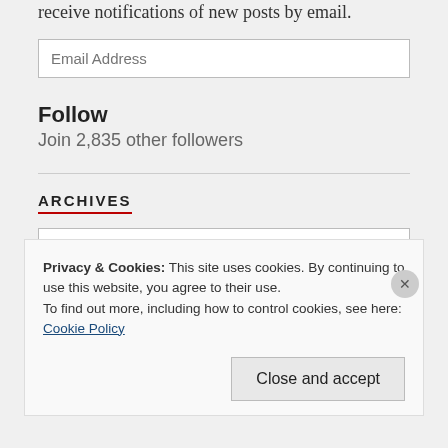receive notifications of new posts by email.
Email Address
Follow
Join 2,835 other followers
ARCHIVES
Select Month
Privacy & Cookies: This site uses cookies. By continuing to use this website, you agree to their use.
To find out more, including how to control cookies, see here: Cookie Policy
Close and accept